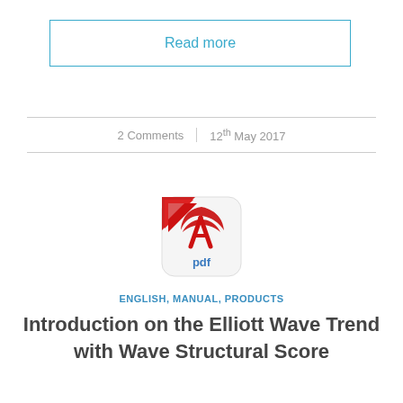Read more
2 Comments | 12th May 2017
[Figure (logo): PDF file icon with red Adobe logo and 'pdf' text on white rounded-rectangle background]
ENGLISH, MANUAL, PRODUCTS
Introduction on the Elliott Wave Trend with Wave Structural Score